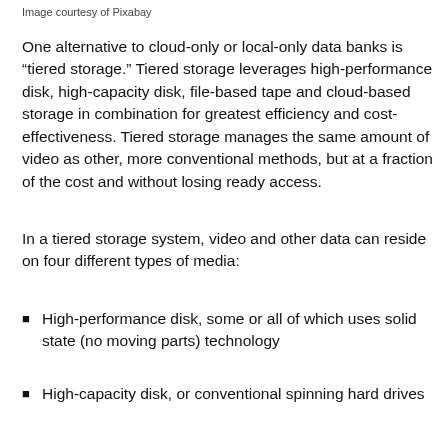Image courtesy of Pixabay
One alternative to cloud-only or local-only data banks is “tiered storage.” Tiered storage leverages high-performance disk, high-capacity disk, file-based tape and cloud-based storage in combination for greatest efficiency and cost-effectiveness. Tiered storage manages the same amount of video as other, more conventional methods, but at a fraction of the cost and without losing ready access.
In a tiered storage system, video and other data can reside on four different types of media:
High-performance disk, some or all of which uses solid state (no moving parts) technology
High-capacity disk, or conventional spinning hard drives